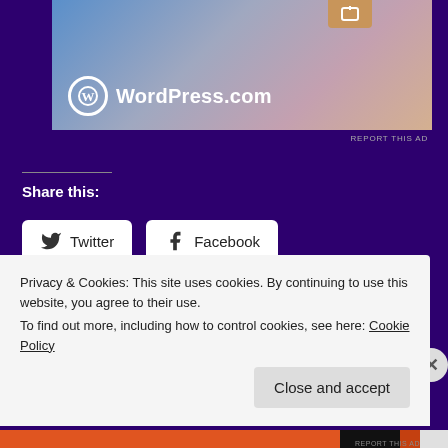[Figure (screenshot): WordPress.com advertisement banner with logo on gradient background]
REPORT THIS AD
Share this:
Twitter
Facebook
Loading…
Privacy & Cookies: This site uses cookies. By continuing to use this website, you agree to their use.
To find out more, including how to control cookies, see here: Cookie Policy
Close and accept